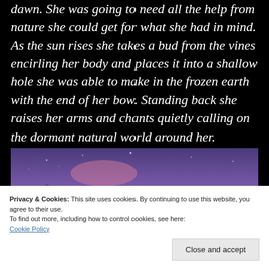dawn. She was going to need all the help from nature she could get for what she had in mind. As the sun rises she takes a bud from the vines encirling her body and places it into a shallow hole she was able to make in the frozen earth with the end of her bow. Standing back she raises her arms and chants quietly calling on the dormant natural world around her.
[Figure (photo): Silhouette of a person with arms raised against a purple/blue twilight sky with mountains in background]
Privacy & Cookies: This site uses cookies. By continuing to use this website, you agree to their use.
To find out more, including how to control cookies, see here: Cookie Policy